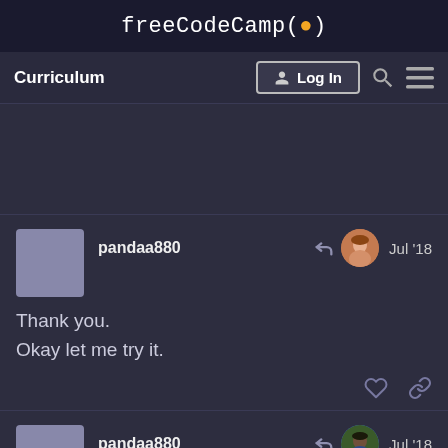freeCodeCamp(🔥)
Curriculum   Log In
pandaa880   Jul '18
Thank you.
Okay let me try it.
pandaa880   Jul '18